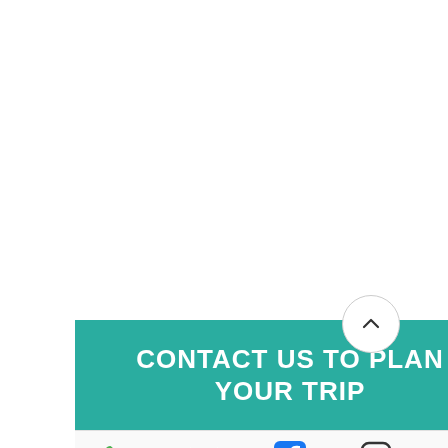CONTACT US TO PLAN YOUR TRIP
Phone
Email
Faceb...
Instagr...
Chat